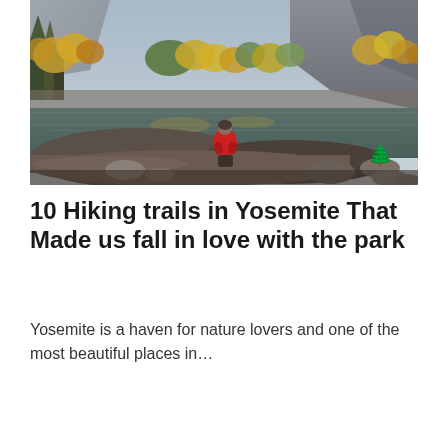[Figure (photo): A person in a red jacket sitting on a log by a reflective river in Yosemite, with autumn foliage and granite cliffs in the background. A small tree emoji is visible in the lower right area of the photo.]
10 Hiking trails in Yosemite That Made us fall in love with the park
Yosemite is a haven for nature lovers and one of the most beautiful places in…